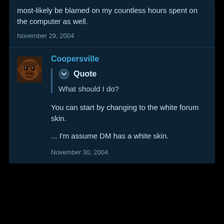most-likely be blamed on my countless hours spent on the computer as well.
November 29, 2004
Coopersville
Quote
What should I do?
You can start by changing to the white forum skin.
... I'm assume DM has a white skin.
November 30, 2004